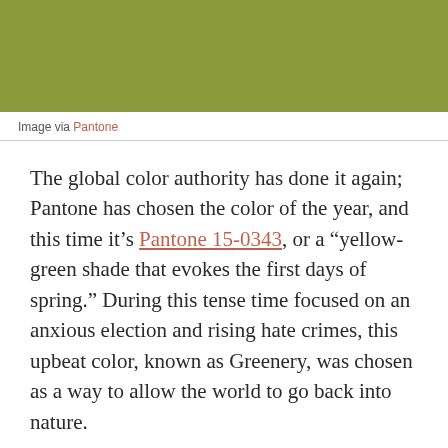[Figure (photo): Olive/yellow-green colored banner image at the top of the page, representing Pantone Greenery color 15-0343.]
Image via Pantone
The global color authority has done it again; Pantone has chosen the color of the year, and this time it’s Pantone 15-0343, or a “yellow-green shade that evokes the first days of spring.” During this tense time focused on an anxious election and rising hate crimes, this upbeat color, known as Greenery, was chosen as a way to allow the world to go back into nature.